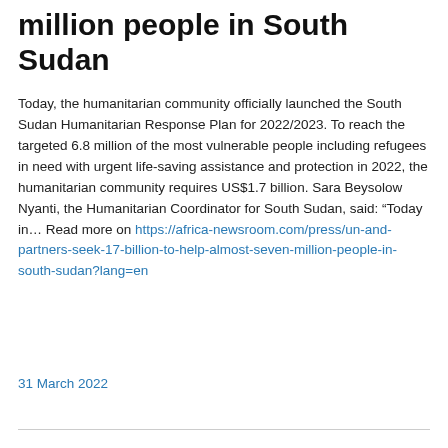million people in South Sudan
Today, the humanitarian community officially launched the South Sudan Humanitarian Response Plan for 2022/2023. To reach the targeted 6.8 million of the most vulnerable people including refugees in need with urgent life-saving assistance and protection in 2022, the humanitarian community requires US$1.7 billion. Sara Beysolow Nyanti, the Humanitarian Coordinator for South Sudan, said: “Today in… Read more on https://africa-newsroom.com/press/un-and-partners-seek-17-billion-to-help-almost-seven-million-people-in-south-sudan?lang=en
31 March 2022